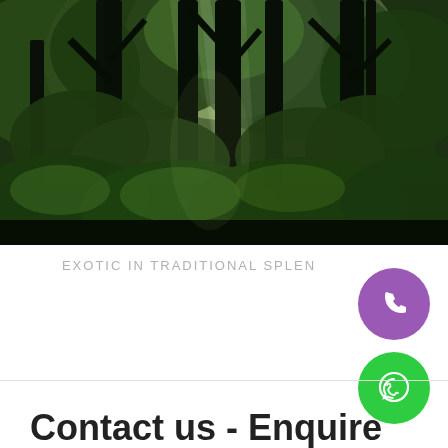[Figure (photo): Forest photo showing tall trees with sunlight rays filtering through lush green foliage and dense undergrowth]
EXOTIC IN TRADITIONAL SPLENDOUR
Contact us - Enquire